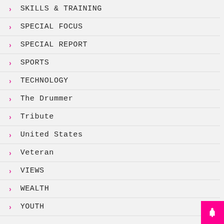SKILLS & TRAINING
SPECIAL FOCUS
SPECIAL REPORT
SPORTS
TECHNOLOGY
The Drummer
Tribute
United States
Veteran
VIEWS
WEALTH
YOUTH